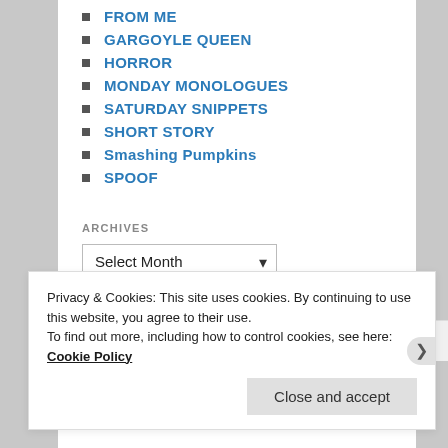FROM ME
GARGOYLE QUEEN
HORROR
MONDAY MONOLOGUES
SATURDAY SNIPPETS
SHORT STORY
Smashing Pumpkins
SPOOF
ARCHIVES
Privacy & Cookies: This site uses cookies. By continuing to use this website, you agree to their use.
To find out more, including how to control cookies, see here: Cookie Policy
Close and accept